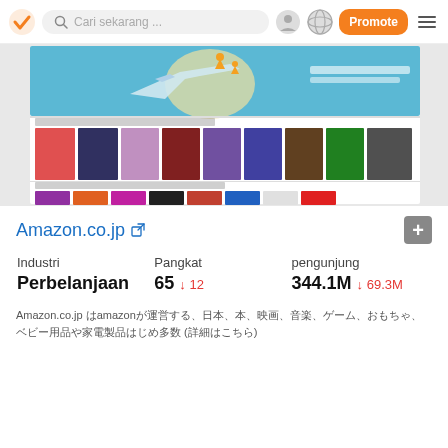Cari sekarang ...  Promote
[Figure (screenshot): Screenshot of Amazon.co.jp website showing delivery banner, international top sellers in books, most wished for in video games, and category sections including Consumer Electronics, Toddler Wonderland, Electronic Personal Care Equipment, Figure]
Amazon.co.jp ↗
| Industri | Pangkat | pengunjung |
| --- | --- | --- |
| Perbelanjaan | 65 ↓ 12 | 344.1M ↓ 69.3M |
Amazon.co.jp はamazonが運営する、日本、本、映画、音楽、ゲーム、おもちゃ、ベビー用品や家電製品はじめ多数 (詳細はこちら)